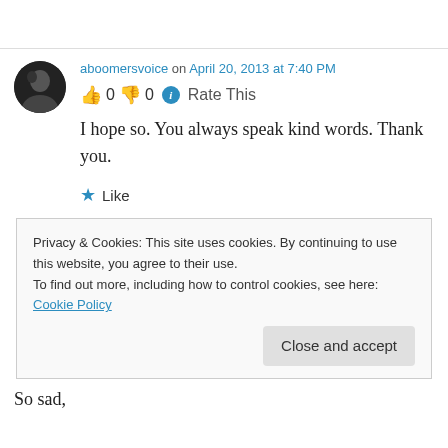aboomersvoice on April 20, 2013 at 7:40 PM
👍 0 👎 0 ℹ Rate This
I hope so. You always speak kind words. Thank you.
★ Like
Privacy & Cookies: This site uses cookies. By continuing to use this website, you agree to their use. To find out more, including how to control cookies, see here: Cookie Policy
Close and accept
So sad,